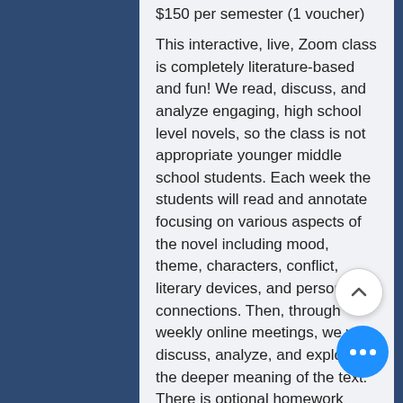This interactive, live, Zoom class is completely literature-based and fun! We read, discuss, and analyze engaging, high school level novels, so the class is not appropriate younger middle school students. Each week the students will read and annotate focusing on various aspects of the novel including mood, theme, characters, conflict, literary devices, and personal connections. Then, through weekly online meetings, we will discuss, analyze, and explore the deeper meaning of the text. There is optional homework students can complete for a grade to prepare them for discussion, increase their critical thinking skills, and satisfy state curriculum requirements. All books will be provided and are included in the class tuition. Fall semester we will be reading A Separate Peace by John